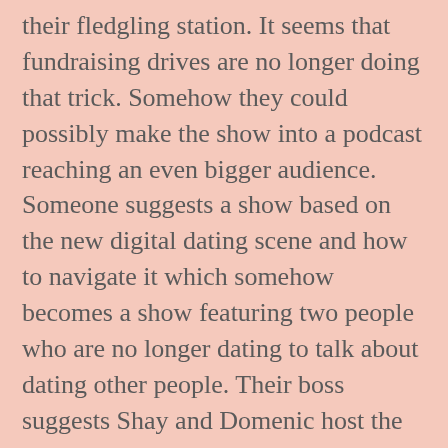their fledgling station. It seems that fundraising drives are no longer doing that trick. Somehow they could possibly make the show into a podcast reaching an even bigger audience. Someone suggests a show based on the new digital dating scene and how to navigate it which somehow becomes a show featuring two people who are no longer dating to talk about dating other people. Their boss suggests Shay and Domenic host the show. There's just one problem - actually several problems - but most importantly, they never dated. They barely know one another outside of work. Never mind any ethical issues like they would be lying to their audience.
The other problem is that Domenic is dead set against it! He's a serious reporter not some talk show co-host. It takes a bit of convincing on Shay's part. After all, their jobs are on the line. He finally agrees and in an effort to seem somewhat sincere they get to